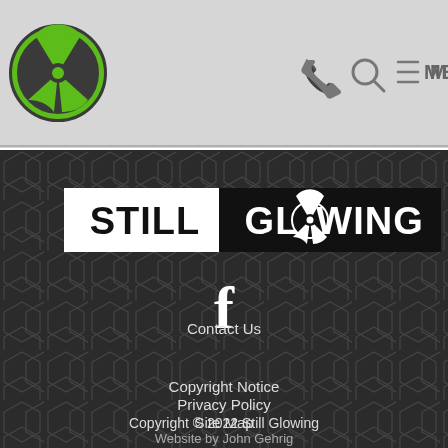[Figure (logo): Still Glowing website header with radioactive symbol logo on left and phone, search, menu icons on right, on light gray background]
[Figure (logo): Still Glowing brand logo: 'STILL' in black text on white background, 'GLOWING' in white text on black background with radioactive symbol replacing the 'O']
[Figure (logo): Facebook 'f' icon in white on dark hexagon-patterned background]
Copyright Notice
Privacy Policy
Site Map
Contact Us
Copyright © 2022 Still Glowing
Website by John Gehrig